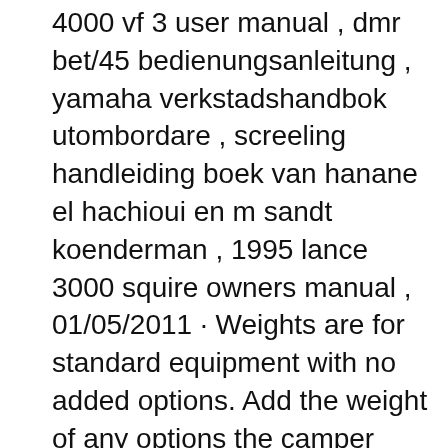4000 vf 3 user manual , dmr bet/45 bedienungsanleitung , yamaha verkstadshandbok utombordare , screeling handleiding boek van hanane el hachioui en m sandt koenderman , 1995 lance 3000 squire owners manual , 01/05/2011 · Weights are for standard equipment with no added options. Add the weight of any options the camper has. Add 100 lbs if it's a Squire 3000 and has an extended cabover that sleeps N/S. Ext cabover was not available on the Squire Lite 165. Should be easy to tell which Lance model it is.
1992 Lance Squire 4000, 96 long, Approximately 2000,00 lbs dry. complete with 2 100 watt solar panels on top, battery controller, winterized rvmarine battery that is exactly 1 year old.